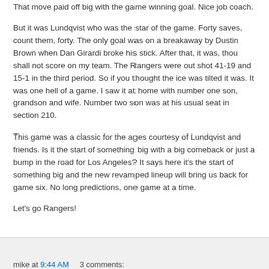That move paid off big with the game winning goal. Nice job coach.
But it was Lundqvist who was the star of the game. Forty saves, count them, forty. The only goal was on a breakaway by Dustin Brown when Dan Girardi broke his stick. After that, it was, thou shall not score on my team. The Rangers were out shot 41-19 and 15-1 in the third period. So if you thought the ice was tilted it was. It was one hell of a game. I saw it at home with number one son, grandson and wife. Number two son was at his usual seat in section 210.
This game was a classic for the ages courtesy of Lundqvist and friends. Is it the start of something big with a big comeback or just a bump in the road for Los Angeles? It says here it's the start of something big and the new revamped lineup will bring us back for game six. No long predictions, one game at a time.
Let's go Rangers!
mike at 9:44 AM    3 comments: